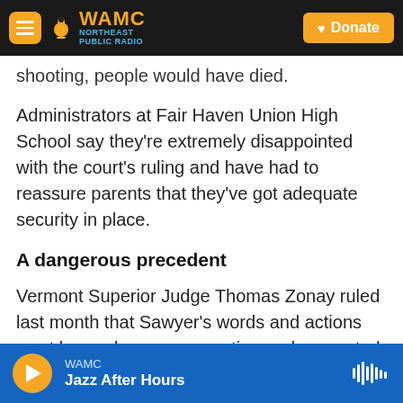WAMC Northeast Public Radio | Donate
shooting, people would have died.
Administrators at Fair Haven Union High School say they're extremely disappointed with the court's ruling and have had to reassure parents that they've got adequate security in place.
A dangerous precedent
Vermont Superior Judge Thomas Zonay ruled last month that Sawyer's words and actions went beyond mere preparation and warranted continued incarceration without bail.
WAMC · Jazz After Hours